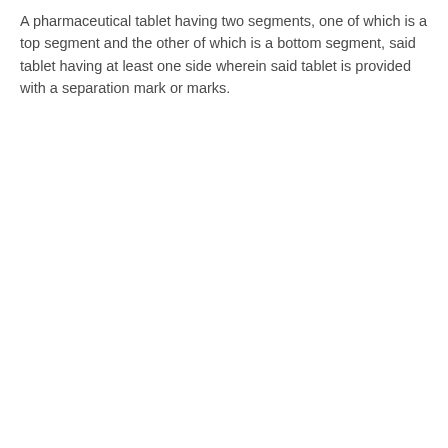A pharmaceutical tablet having two segments, one of which is a top segment and the other of which is a bottom segment, said tablet having at least one side wherein said tablet is provided with a separation mark or marks.